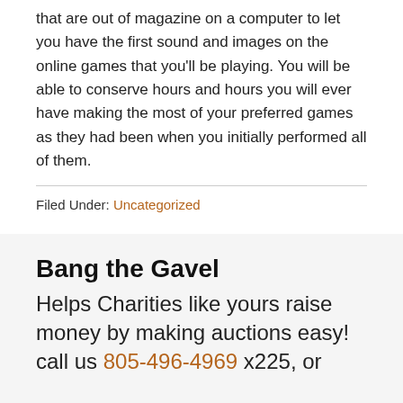that are out of magazine on a computer to let you have the first sound and images on the online games that you'll be playing. You will be able to conserve hours and hours you will ever have making the most of your preferred games as they had been when you initially performed all of them.
Filed Under: Uncategorized
Bang the Gavel
Helps Charities like yours raise money by making auctions easy! call us 805-496-4969 x225, or